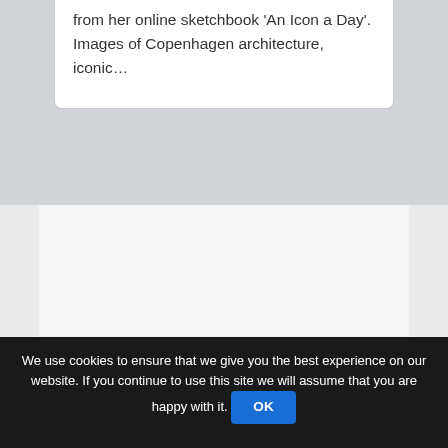from her online sketchbook 'An Icon a Day'. Images of Copenhagen architecture, iconic...
[Figure (infographic): Three colored pill/capsule shaped buttons arranged in a staircase pattern: yellow pill on the right, orange pill in the middle, purple pill on the left. Below them is partially visible large text reading 'INSIDER' in dark bold letters.]
We use cookies to ensure that we give you the best experience on our website. If you continue to use this site we will assume that you are happy with it. OK